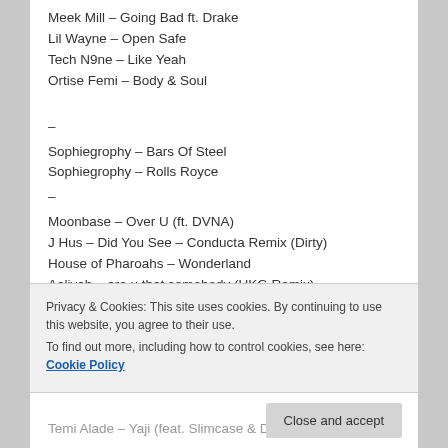Meek Mill – Going Bad ft. Drake
Lil Wayne – Open Safe
Tech N9ne – Like Yeah
Ortise Femi – Body & Soul
–
Sophiegrophy – Bars Of Steel
Sophiegrophy – Rolls Royce
–
Moonbase – Over U (ft. DVNA)
J Hus – Did You See – Conducta Remix (Dirty)
House of Pharoahs – Wonderland
Aaliyah – are u that somebody (UKG Remix)
trfk – Are U With Me? (feat. Roxanne)
Privacy & Cookies: This site uses cookies. By continuing to use this website, you agree to their use.
To find out more, including how to control cookies, see here: Cookie Policy
Temi Alade – Yaji (feat. Slimcase & Drainee)